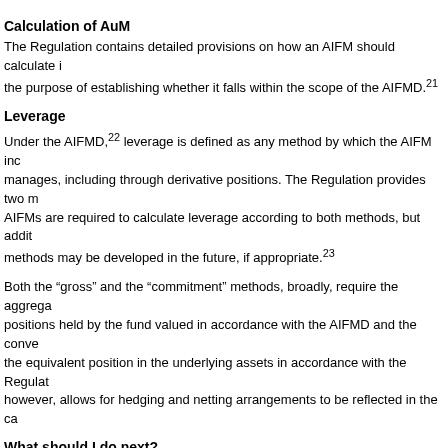Calculation of AuM
The Regulation contains detailed provisions on how an AIFM should calculate its AuM for the purpose of establishing whether it falls within the scope of the AIFMD.21
Leverage
Under the AIFMD,22 leverage is defined as any method by which the AIFM increases the exposure of an AIF it manages, including through derivative positions. The Regulation provides two methods for calculating leverage. AIFMs are required to calculate leverage according to both methods, but additional or alternative methods may be developed in the future, if appropriate.23
Both the “gross” and the “commitment” methods, broadly, require the aggregation of absolute values of positions held by the fund valued in accordance with the AIFMD and the conversion of derivatives into the equivalent position in the underlying assets in accordance with the Regulation. The commitment method, however, allows for hedging and netting arrangements to be reflected in the calculation.
What should I do next?
Investment fund managers need immediately to begin to prepare for the implementation of the AIFMD in July 2013. The extent of such preparations will vary depending on whether the manager qualifies as a full-scope AIFM.